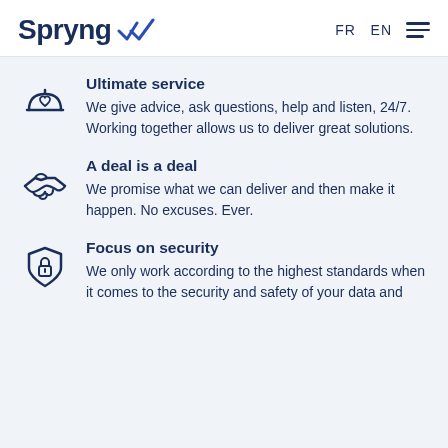Spryng — FR EN
Ultimate service
We give advice, ask questions, help and listen, 24/7. Working together allows us to deliver great solutions.
A deal is a deal
We promise what we can deliver and then make it happen. No excuses. Ever.
Focus on security
We only work according to the highest standards when it comes to the security and safety of your data and